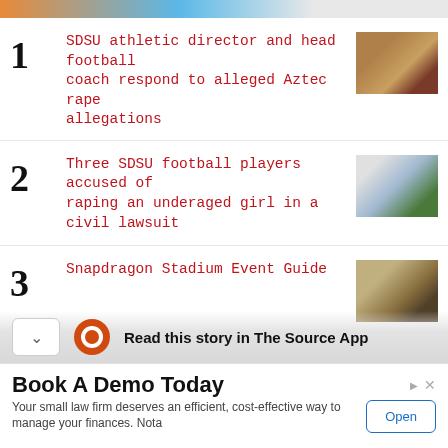[Figure (photo): Top banner image strip showing partial photos]
1 SDSU athletic director and head football coach respond to alleged Aztec rape allegations
2 Three SDSU football players accused of raping an underaged girl in a civil lawsuit
3 Snapdragon Stadium Event Guide
4 Immediate Access replaced with new Equitable Access program for textbooks
Read this story in The Source App
Book A Demo Today
Your small law firm deserves an efficient, cost-effective way to manage your finances. Nota